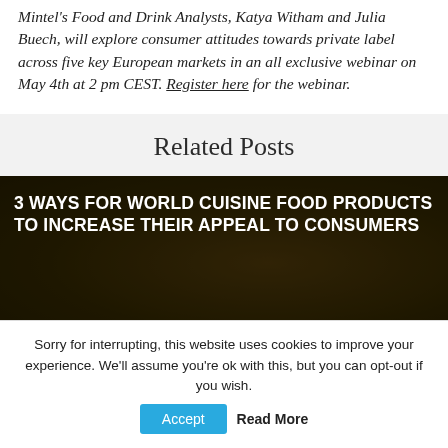Mintel's Food and Drink Analysts, Katya Witham and Julia Buech, will explore consumer attitudes towards private label across five key European markets in an all exclusive webinar on May 4th at 2 pm CEST. Register here for the webinar.
Related Posts
[Figure (photo): Dark background image of food items with bold white uppercase text overlay reading: 3 WAYS FOR WORLD CUISINE FOOD PRODUCTS TO INCREASE THEIR APPEAL TO CONSUMERS]
Sorry for interrupting, this website uses cookies to improve your experience. We'll assume you're ok with this, but you can opt-out if you wish. Accept  Read More